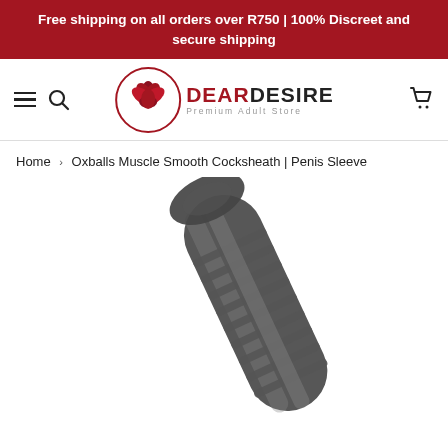Free shipping on all orders over R750 | 100% Discreet and secure shipping
[Figure (logo): Dear Desire Premium Adult Store logo with lotus flower in red circle]
Home > Oxballs Muscle Smooth Cocksheath | Penis Sleeve
[Figure (photo): Close-up photo of Oxballs Muscle Smooth Cocksheath product - a dark translucent ribbed penis sleeve shown at an angle]